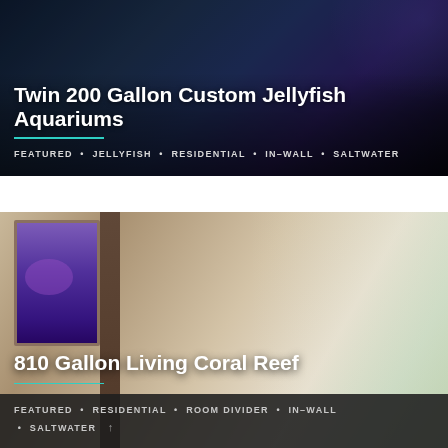[Figure (photo): Twin 200 Gallon Custom Jellyfish Aquariums - dark room with illuminated aquariums]
Twin 200 Gallon Custom Jellyfish Aquariums
FEATURED • JELLYFISH • RESIDENTIAL • IN-WALL • SALTWATER
[Figure (photo): 810 Gallon Living Coral Reef - luxury living room with in-wall aquarium and outdoor view]
810 Gallon Living Coral Reef
FEATURED • RESIDENTIAL • ROOM DIVIDER • IN-WALL • SALTWATER